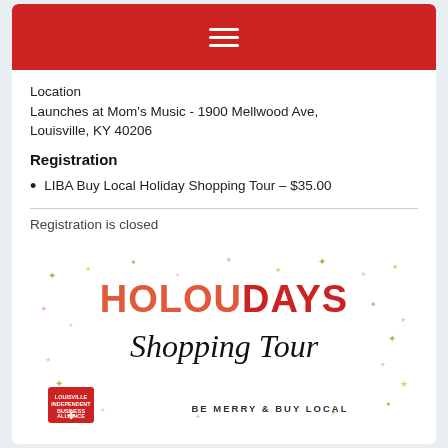≡ (hamburger menu icon)
Location
Launches at Mom's Music - 1900 Mellwood Ave, Louisville, KY 40206
Registration
LIBA Buy Local Holiday Shopping Tour – $35.00
Registration is closed
[Figure (illustration): HOLOUDAYS Shopping Tour promotional graphic with sparkle decorations, text reading 'HOLOUDAYS Shopping Tour - BE MERRY & BUY LOCAL' and Louisville Independent Business Alliance logo badge]